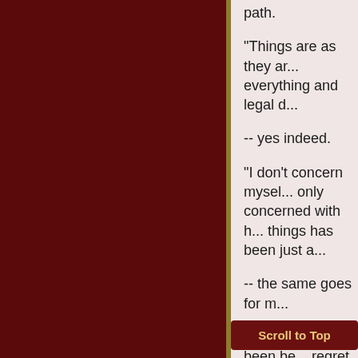path.
"Things are as they ar... everything and legal d...
-- yes indeed.
"I don't concern mysel... only concerned with h... things has been just a...
-- the same goes for m...
"I might have been be... regret it because I am... Everything contributes...
Scroll to Top